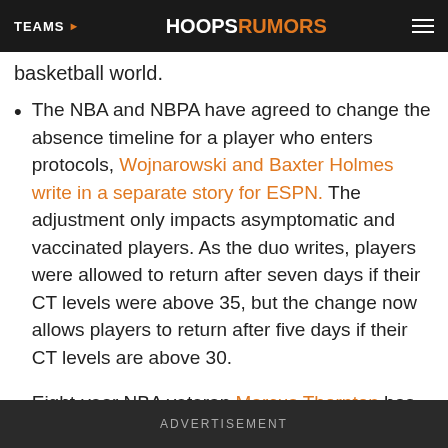TEAMS | HOOPSRUMORS
basketball world.
The NBA and NBPA have agreed to change the absence timeline for a player who enters protocols, Wojnarowski and Baxter Holmes write in a separate story for ESPN. The adjustment only impacts asymptomatic and vaccinated players. As the duo writes, players were allowed to return after seven days if their CT levels were above 35, but the change now allows players to return after five days if their CT levels are above 30.
Eight-year NBA veteran Marcus Thornton has signed a contract in the G League, sources told
ADVERTISEMENT